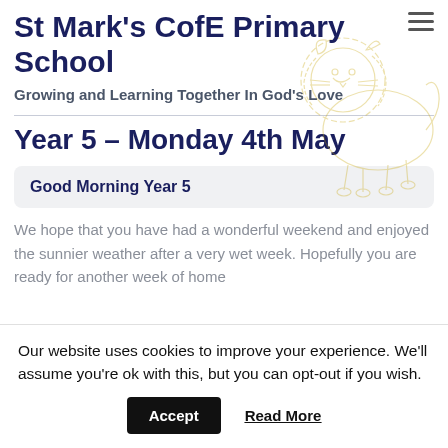St Mark's CofE Primary School
Growing and Learning Together In God's Love
Year 5 – Monday 4th May
Good Morning Year 5
We hope that you have had a wonderful weekend and enjoyed the sunnier weather after a very wet week. Hopefully you are ready for another week of home
Our website uses cookies to improve your experience. We'll assume you're ok with this, but you can opt-out if you wish.
Accept   Read More